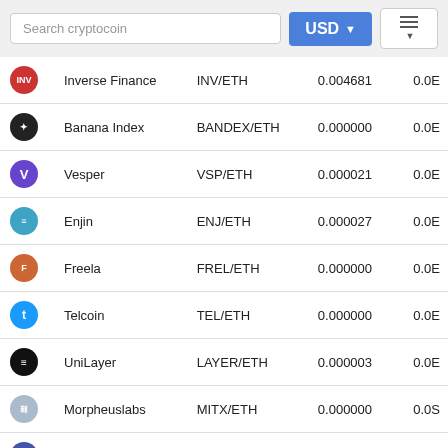Search cryptocoin | USD | menu
| Icon | Name | Pair | Price | Change |
| --- | --- | --- | --- | --- |
|  | Inverse Finance | INV/ETH | 0.004681 | 0.0E |
|  | Banana Index | BANDEX/ETH | 0.000000 | 0.0E |
|  | Vesper | VSP/ETH | 0.000021 | 0.0E |
|  | Enjin | ENJ/ETH | 0.000027 | 0.0E |
|  | Freela | FREL/ETH | 0.000000 | 0.0E |
|  | Telcoin | TEL/ETH | 0.000000 | 0.0E |
|  | UniLayer | LAYER/ETH | 0.000003 | 0.0E |
|  | Morpheuslabs | MITX/ETH | 0.000000 | 0.0S |
|  | Phuntoken | PHTK/ETH | 0.000000 | 0.0S |
|  | LABS Group | LABS/ETH | 0.000000 | 0.0S |
|  | Modefi | MOD/ETH | 0.000014 | 0.0S |
|  | Holotoken | HOT/ETH | 0.000000 | 0.0S |
We use cookies for analytics, advertising and to improve our site. To find out more about our cookies, see our Privacy Policy. If you agree to our use of cookies, please continue to use our site or press the accept button. Learn more
Accept